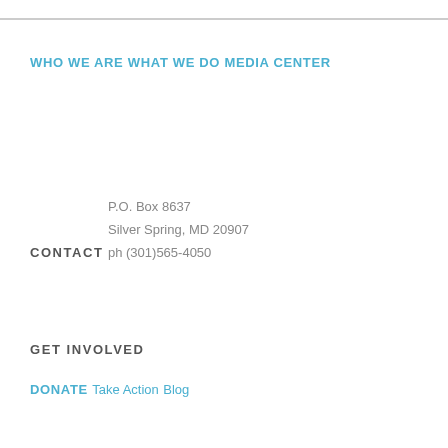WHO WE ARE
WHAT WE DO
MEDIA CENTER
CONTACT
P.O. Box 8637
Silver Spring, MD 20907
ph (301)565-4050
GET INVOLVED
DONATE
Take Action
Blog